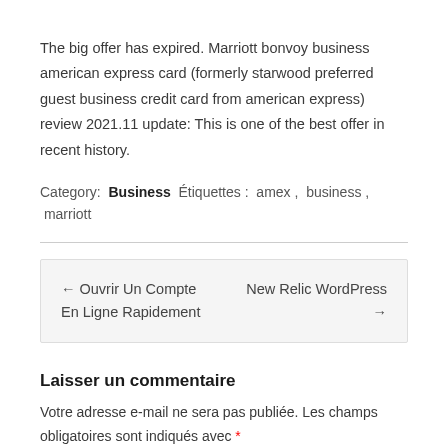The big offer has expired. Marriott bonvoy business american express card (formerly starwood preferred guest business credit card from american express) review 2021.11 update: This is one of the best offer in recent history.
Category: Business  Étiquettes : amex , business , marriott
← Ouvrir Un Compte En Ligne Rapidement    New Relic WordPress →
Laisser un commentaire
Votre adresse e-mail ne sera pas publiée. Les champs obligatoires sont indiqués avec *